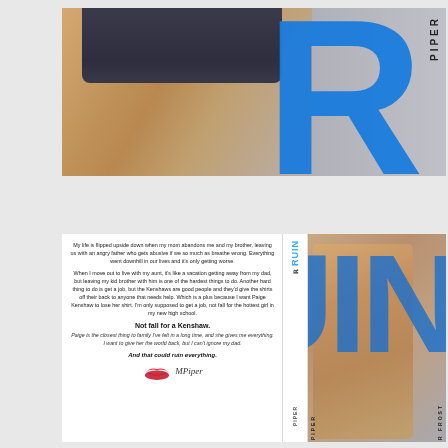[Figure (photo): Top portion of book cover for 'RUIN' by Piper Frost, showing close-up of athletic male torso/legs in dark shorts with large blue letter R and author name PIPER in vertical text]
[Figure (photo): Full book cover for 'RUIN' by Piper Frost showing back cover text and spine and front cover with shirtless male model, large blue RUIN letters]
My life is flipped upside down when my mom abandons me and my brother, leaving us with an angry father who gets abusive if we so much as breathe wrong. Everything went downhill in our lives and it's only getting worse.
When I move out to live with my aunt, it's like a vacation getting away from my dad, but leaving my kid brother with him is one of the hardest things to do. Another hard thing to do is get a job, but the Kenshaws are good people and they'd give the shirts off their back to anyone that needs help. Which is a plus because I want Paige Kenshaw to lose her shirt. I'm only supposed to get a job, not fall for the hottest girl in my new high school.
Not fall for a Kenshaw.
Paige is the closest thing to family I've felt in a long time, and she gives me everything. I want to give her the world back, but I can't ignore my dad.
And that could ruin everything.